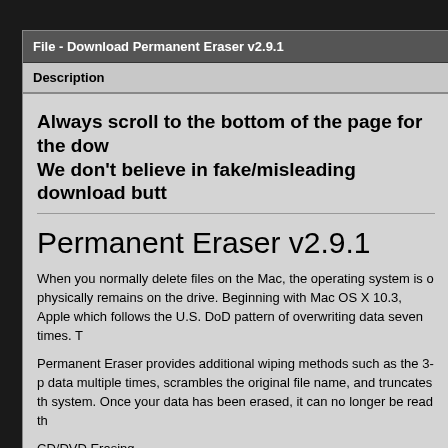File - Download Permanent Eraser v2.9.1
Description
Always scroll to the bottom of the page for the dow
We don't believe in fake/misleading download butt
Permanent Eraser v2.9.1
When you normally delete files on the Mac, the operating system is o... physically remains on the drive. Beginning with Mac OS X 10.3, Apple... which follows the U.S. DoD pattern of overwriting data seven times. T...
Permanent Eraser provides additional wiping methods such as the 3-p... data multiple times, scrambles the original file name, and truncates th... system. Once your data has been erased, it can no longer be read th...
CD/DVD Erasing
Permanent Eraser fills in what the Finder forgot! Simply drag a CD-RV...
Finder Integration
Don't want to take up more space in your already cluttered Dock? Ins... easy access to wipe away the files you no longer need. Click the ico...